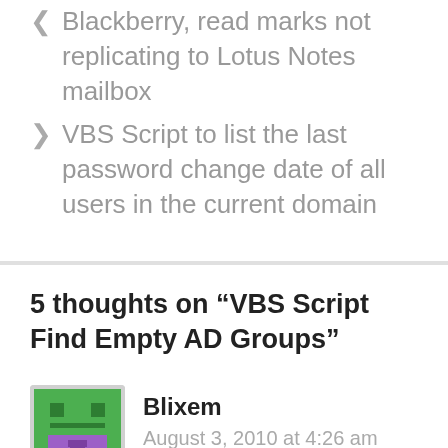Blackberry, read marks not replicating to Lotus Notes mailbox
VBS Script to list the last password change date of all users in the current domain
5 thoughts on “VBS Script Find Empty AD Groups”
Blixem
August 3, 2010 at 4:26 am